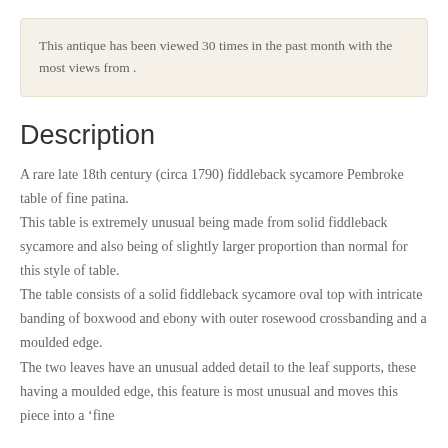This antique has been viewed 30 times in the past month with the most views from .
Description
A rare late 18th century (circa 1790) fiddleback sycamore Pembroke table of fine patina. This table is extremely unusual being made from solid fiddleback sycamore and also being of slightly larger proportion than normal for this style of table. The table consists of a solid fiddleback sycamore oval top with intricate banding of boxwood and ebony with outer rosewood crossbanding and a moulded edge. The two leaves have an unusual added detail to the leaf supports, these having a moulded edge, this feature is most unusual and moves this piece into a ‘fine